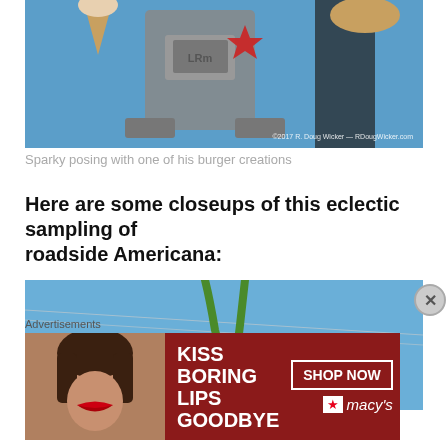[Figure (photo): Close-up photo of a large mascot/robot figure (Sparky) posing with burger creations against a blue sky. Watermark reads: ©2017 R. Doug Wicker – RDougWicker.com]
Sparky posing with one of his burger creations
Here are some closeups of this eclectic sampling of roadside Americana:
[Figure (photo): Partial photo of roadside Americana figure/sculpture against a blue sky, showing what appears to be a large tomato or pepper character with green stems.]
Advertisements
[Figure (photo): Advertisement banner for Macy's – KISS BORING LIPS GOODBYE with SHOP NOW button and Macy's star logo, featuring a close-up of a woman's face with red lipstick.]